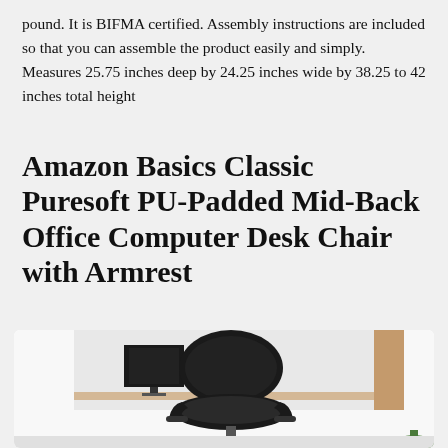pound. It is BIFMA certified. Assembly instructions are included so that you can assemble the product easily and simply. Measures 25.75 inches deep by 24.25 inches wide by 38.25 to 42 inches total height
Amazon Basics Classic Puresoft PU-Padded Mid-Back Office Computer Desk Chair with Armrest
[Figure (photo): Photo of a black PU leather mid-back office chair with armrests, shown in a white office setting with a desk and monitor in the background.]